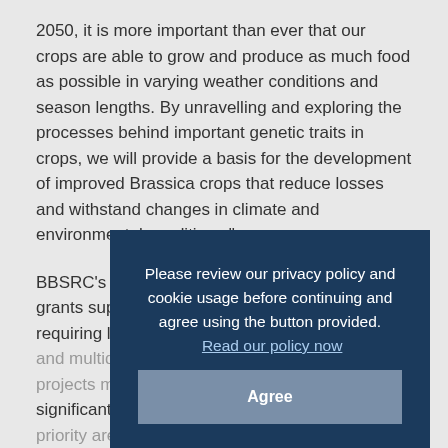2050, it is more important than ever that our crops are able to grow and produce as much food as possible in varying weather conditions and season lengths. By unravelling and exploring the processes behind important genetic traits in crops, we will provide a basis for the development of improved Brassica crops that reduce losses and withstand changes in climate and environmental conditions."

BBSRC's Strategic Longer and Larger (SLoLa) grants support integrated research projects requiring long timescales, extensive resources and multidisciplinary approaches. Supported projects must be scientifically excellent and add significant advance to one or more Bioscience priority areas, and a strong understanding of the potential for economic and societal impact and a nationally leading research team.

BBSRC's Head of Agriculture and Food Security, Dr Adam Staines added:
Please review our privacy policy and cookie usage before continuing and agree using the button provided. Read our policy now